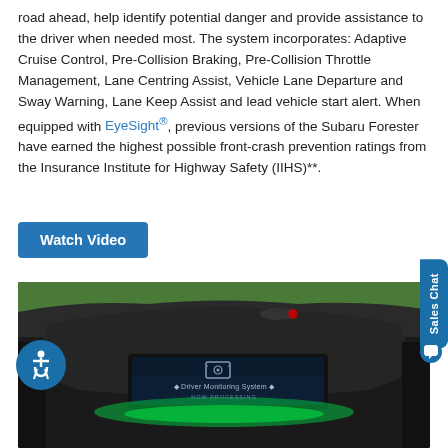road ahead, help identify potential danger and provide assistance to the driver when needed most. The system incorporates: Adaptive Cruise Control, Pre-Collision Braking, Pre-Collision Throttle Management, Lane Centring Assist, Vehicle Lane Departure and Sway Warning, Lane Keep Assist and lead vehicle start alert. When equipped with EyeSight®, previous versions of the Subaru Forester have earned the highest possible front-crash prevention ratings from the Insurance Institute for Highway Safety (IIHS)**.
Watch Video
[Figure (photo): Photo of a Subaru vehicle dashboard showing the Driver Monitoring System display screen with green ambient lighting and a red indicator light at the top. Text on screen reads 'Driver Monitoring System' and 'NOW PROCESSING'.]